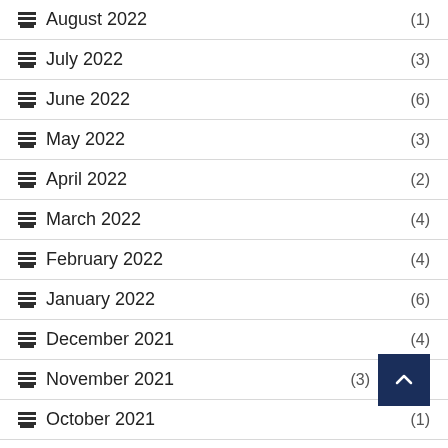August 2022 (1)
July 2022 (3)
June 2022 (6)
May 2022 (3)
April 2022 (2)
March 2022 (4)
February 2022 (4)
January 2022 (6)
December 2021 (4)
November 2021 (3)
October 2021 (1)
September 2021 (4)